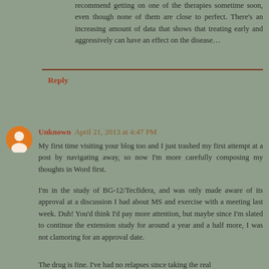recommend getting on one of the therapies sometime soon, even though none of them are close to perfect. There's an increasing amount of data that shows that treating early and aggressively can have an effect on the disease…
Reply
Unknown  April 21, 2013 at 4:47 PM
My first time visiting your blog too and I just trashed my first attempt at a post by navigating away, so now I'm more carefully composing my thoughts in Word first.
I'm in the study of BG-12/Tecfidera, and was only made aware of its approval at a discussion I had about MS and exercise with a meeting last week. Duh! You'd think I'd pay more attention, but maybe since I'm slated to continue the extension study for around a year and a half more, I was not clamoring for an approval date.
The drug is fine. I've had no relapses since taking the real